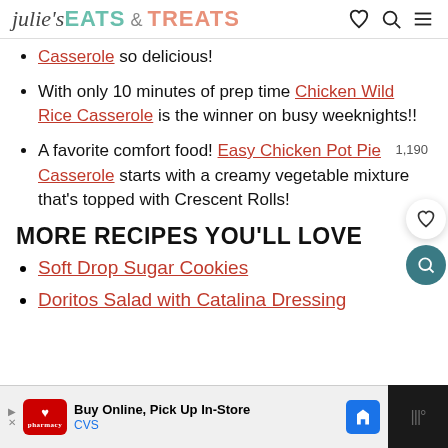julie's EATS & TREATS
Casserole so delicious!
With only 10 minutes of prep time Chicken Wild Rice Casserole is the winner on busy weeknights!!
A favorite comfort food! Easy Chicken Pot Pie Casserole starts with a creamy vegetable mixture that's topped with Crescent Rolls!
MORE RECIPES YOU'LL LOVE
Soft Drop Sugar Cookies
Doritos Salad with Catalina Dressing